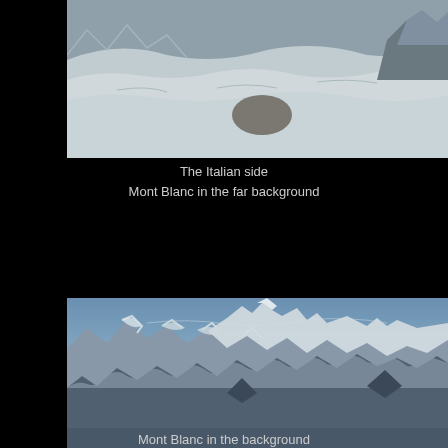[Figure (photo): Aerial view of snow-covered glacier and rocky mountain terrain, Italian side, Mont Blanc in far background]
The Italian side
Mont Blanc in the far background
[Figure (photo): Wide panoramic view of snow-covered Alps mountain range with Mont Blanc visible in the far background under blue sky]
Mont Blanc in the background